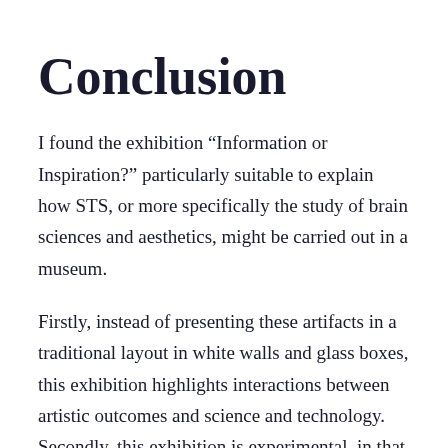Conclusion
I found the exhibition “Information or Inspiration?” particularly suitable to explain how STS, or more specifically the study of brain sciences and aesthetics, might be carried out in a museum.
Firstly, instead of presenting these artifacts in a traditional layout in white walls and glass boxes, this exhibition highlights interactions between artistic outcomes and science and technology. Secondly, this exhibition is experimental, in that